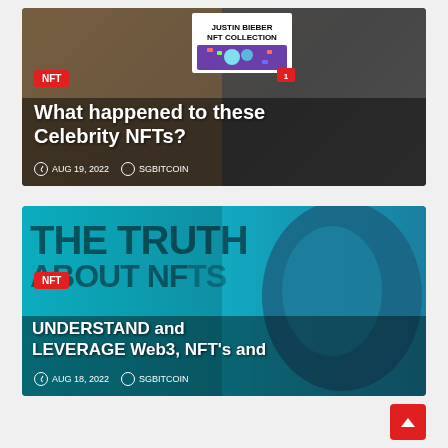[Figure (photo): Article card showing two men looking at a Justin Bieber NFT collection sign with colorful bear cartoon graphics. Dark background.]
What happened to these Celebrity NFTs?
NFT  AUG 19, 2022  SGBITCOIN
[Figure (photo): Article card with a man's face in blue/cyan lighting. Large dark background text reads THE TRUTH ABOUT NFTS.]
UNDERSTAND and LEVERAGE Web3, NFT's and
NFT  AUG 18, 2022  SGBITCOIN